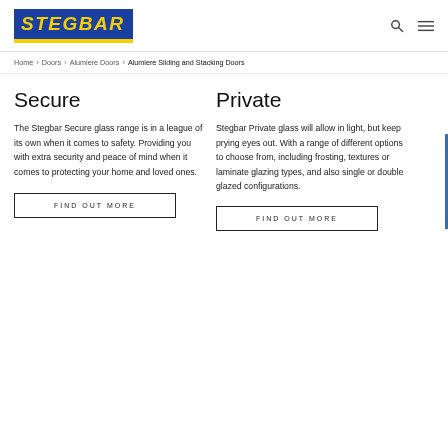[Figure (logo): Stegbar logo — blue rectangle with yellow italic bold text 'STEGBAR' and yellow underline bar]
Home > Doors > Alumiere Doors > Alumiere Sliding and Stacking Doors
Secure
The Stegbar Secure glass range is in a league of its own when it comes to safety. Providing you with extra security and peace of mind when it comes to protecting your home and loved ones.
FIND OUT MORE
Private
Stegbar Private glass will allow in light, but keep prying eyes out. With a range of different options to choose from, including frosting, textures or laminate glazing types, and also single or double glazed configurations.
FIND OUT MORE